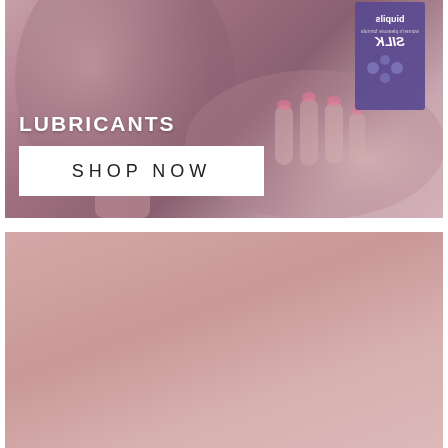[Figure (photo): A photo banner showing a person's face in profile and hand holding a Silk lubricants product box (mirrored/flipped), with mauve/dusty rose tones. Text overlays: 'LUBRICANTS' in white uppercase and a white 'SHOP NOW' button.]
LUBRICANTS
SHOP NOW
[Figure (photo): A solid dusty rose / mauve pink colored block, likely the bottom portion of a product lifestyle image.]